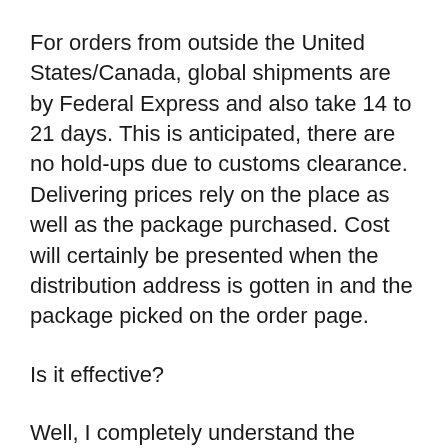For orders from outside the United States/Canada, global shipments are by Federal Express and also take 14 to 21 days. This is anticipated, there are no hold-ups due to customs clearance. Delivering prices rely on the place as well as the package purchased. Cost will certainly be presented when the distribution address is gotten in and the package picked on the order page.
Is it effective?
Well, I completely understand the curiosity of a great deal of females concerning this question. Does Bust Actives really function? The only individuals that have used the product can be trusted to decide whether the